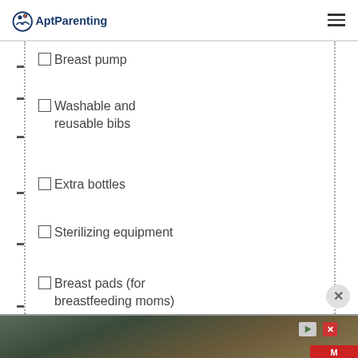AptParenting
☐ Breast pump
☐ Washable and reusable bibs
☐ Extra bottles
☐ Sterilizing equipment
☐ Breast pads (for breastfeeding moms)
☐ Baby spoons
☐ Sip cups